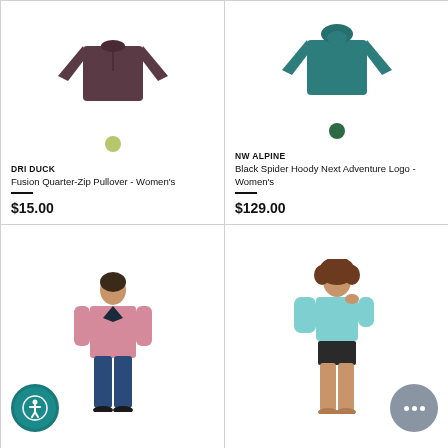[Figure (photo): Dark plum/purple long-sleeve quarter-zip pullover shirt on white background, with a light green color swatch dot below]
DRI DUCK
Fusion Quarter-Zip Pullover - Women's
$15.00
[Figure (photo): Teal/dark cyan long-sleeve hoody on white background, with a dark green color swatch dot below]
NW ALPINE
Black Spider Hoody Next Adventure Logo - Women's
$129.00
[Figure (photo): Woman wearing pink/blush zip-up athletic jacket with dark trim and blue pants, with accessibility icon in bottom left]
[Figure (photo): Woman wearing light blue/aqua long-sleeve swim top with dark bottoms, with chat button in bottom right]